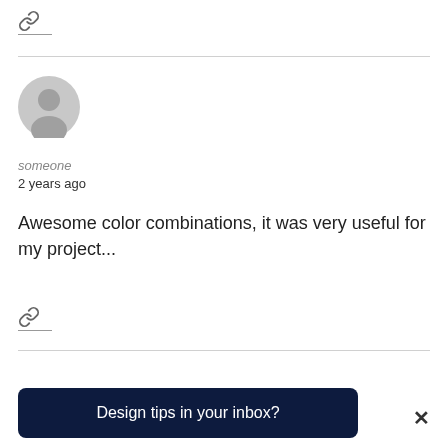[Figure (illustration): Chain link icon at top of comment]
[Figure (illustration): Gray circular user avatar/profile placeholder]
someone
2 years ago
Awesome color combinations, it was very useful for my project...
[Figure (illustration): Chain link icon below comment]
Design tips in your inbox?